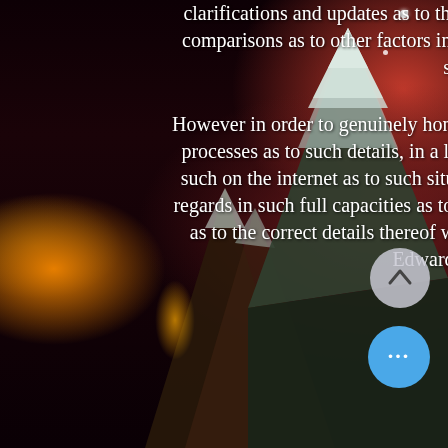clarifications and updates as to the years of 2019 through to 2021 more-so in the comparisons as to other factors in reference to the year of 2022 and onward as to such situations.

However in order to genuinely honor and respect such aspects as to the verification processes as to such details, in a larger capacity than just the review as to finding such on the internet as to such situations to ensure the aspects of the truth in such regards in such full capacities as to the realities such an award being of importance as to the correct details thereof which includes the reference as to the Dr. Mary Edwards Walker Collection.